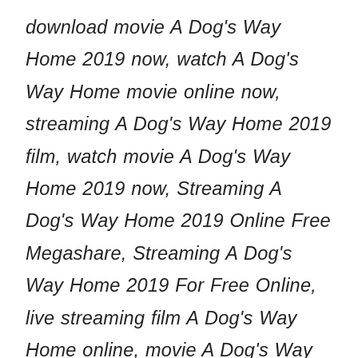download movie A Dog's Way Home 2019 now, watch A Dog's Way Home movie online now, streaming A Dog's Way Home 2019 film, watch movie A Dog's Way Home 2019 now, Streaming A Dog's Way Home 2019 Online Free Megashare, Streaming A Dog's Way Home 2019 For Free Online, live streaming film A Dog's Way Home online, movie A Dog's Way Home download, Watch A Dog's Way Home 2019 Online Free Putlocker, watch A Dog's Way Home 2019 film now, download full movie A Dog's Way Home, Watch A Dog's Way Home 2019 Online Viooz, movie A Dog's Way Home 2019 streaming, Watch A Dog's Way Home 2019 For Free online, A Dog's Way Home